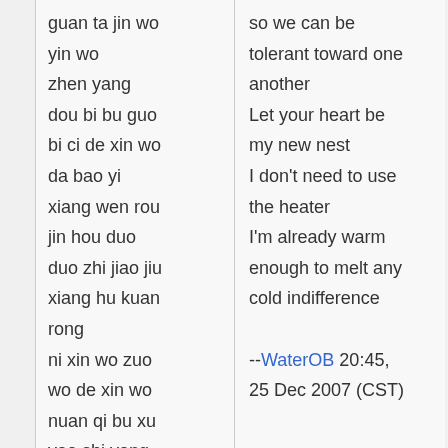guan ta jin wo
yin wo
zhen yang
dou bi bu guo
bi ci de xin wo
da bao yi
xiang wen rou
jin hou duo
duo zhi jiao jiu
xiang hu kuan rong
ni xin wo zuo
wo de xin wo
nuan qi bu xu
yao shi yong
wo yi jing wen
nuan dao rong
huo guo you
so we can be tolerant toward one another
Let your heart be my new nest
I don't need to use the heater
I'm already warm enough to melt any cold indifference

--WaterOB 20:45, 25 Dec 2007 (CST)